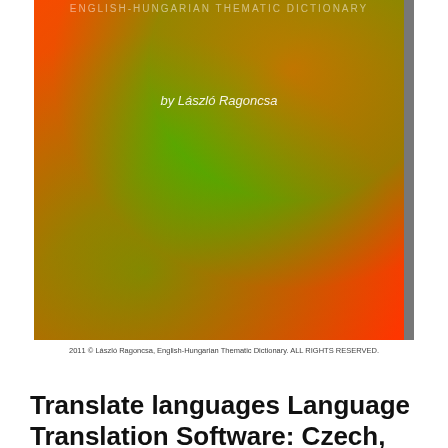[Figure (illustration): Book cover with a green-orange gradient background and the text 'by László Ragoncsa' in white italic text in the upper-center area. A dark border on the right side.]
2011 © László Ragoncsa, English-Hungarian Thematic Dictionary. ALL RIGHTS RESERVED.
Translate languages Language Translation Software: Czech, English, Farsi (Persian), French